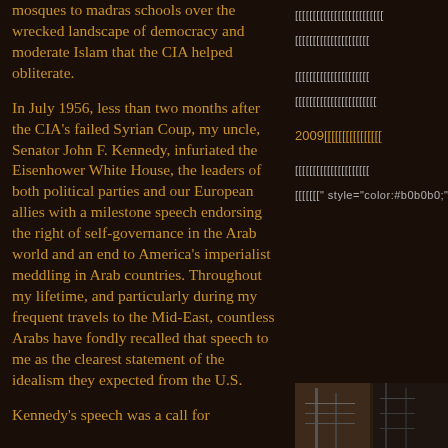mosques to madras schools over the wrecked landscape of democracy and moderate Islam that the CIA helped obliterate.
In July 1956, less than two months after the CIA's failed Syrian Coup, my uncle, Senator John F. Kennedy, infuriated the Eisenhower White House, the leaders of both political parties and our European allies with a milestone speech endorsing the right of self-governance in the Arab world and an end to America's imperialist meddling in Arab countries. Throughout my lifetime, and particularly during my frequent travels to the Mid-East, countless Arabs have fondly recalled that speech to me as the clearest statement of the idealism they expected from the U.S.
Kennedy's speech was a call for
[right column text lines in foreign script]
2009[foreign script text]
[Figure (photo): Partial photo in bottom right corner showing building/utility poles]